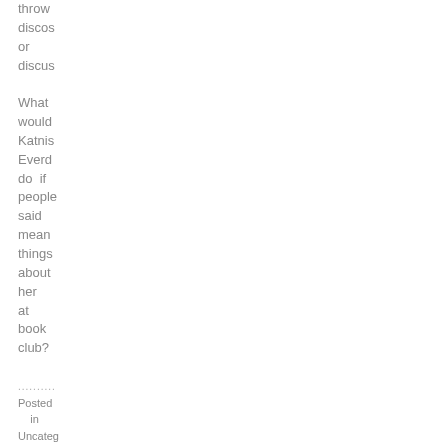throw discos or discus What would Katnis Everd do if people said mean things about her at book club?
.......... Posted in Uncateg | Leave a Comme